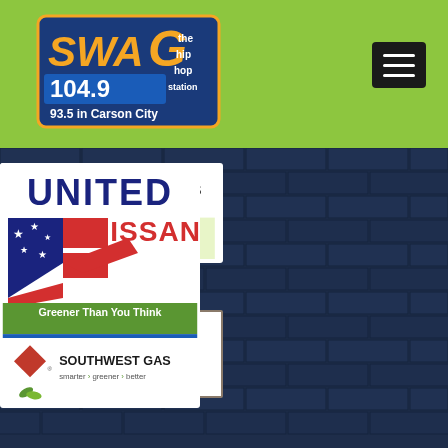[Figure (logo): SWAG 104.9 The Hip Hop Station, 93.5 in Carson City radio station logo on green background]
[Figure (logo): Hamburger menu button icon (three horizontal lines) in black rounded rectangle]
[Figure (logo): Southwest Gas advertisement: logo with diamond pattern, 'SOUTHWEST GAS', tagline 'smarter > greener > better', with green leaf imagery]
[Figure (logo): United Nissan advertisement: 'UNITED NISSAN' text with stylized eagle/flag logo in red, white, and blue]
[Figure (logo): East Fork Roofing advertisement: company name in decorative serif font with border]
[Figure (logo): Southwest Gas 'Greener Than You Think' advertisement with green header and Southwest Gas logo]